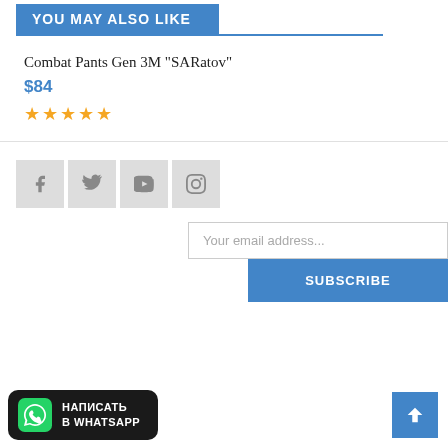YOU MAY ALSO LIKE
Combat Pants Gen 3M "SARatov"
$84
★★★★★
[Figure (infographic): Social media icons: Facebook, Twitter, YouTube, Instagram in grey square buttons]
Your email address...
SUBSCRIBE
[Figure (infographic): WhatsApp contact button with green WhatsApp logo and text НАПИСАТЬ В WHATSAPP on dark rounded background]
[Figure (infographic): Back to top button, blue square with upward chevron arrow]